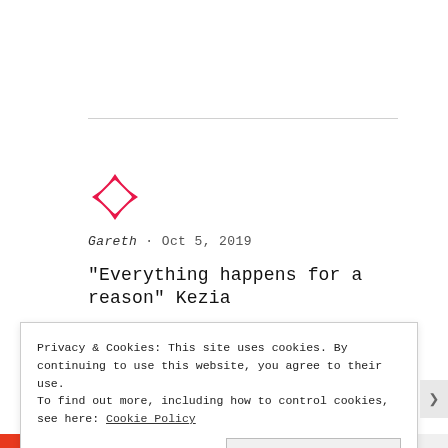[Figure (logo): Diamond-shaped logo with pink/red arrows pointing outward from center, rotated 45 degrees]
Gareth · Oct 5, 2019
“Everything happens for a reason” Kezia
Privacy & Cookies: This site uses cookies. By continuing to use this website, you agree to their use.
To find out more, including how to control cookies, see here: Cookie Policy
Close and accept